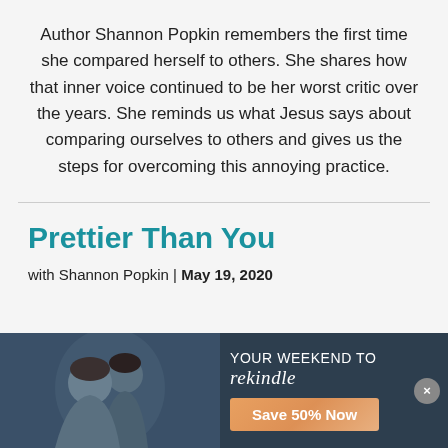Author Shannon Popkin remembers the first time she compared herself to others. She shares how that inner voice continued to be her worst critic over the years. She reminds us what Jesus says about comparing ourselves to others and gives us the steps for overcoming this annoying practice.
Prettier Than You
with Shannon Popkin | May 19, 2020
[Figure (infographic): Advertisement banner for Weekend to Remember event. Dark navy background with photo of two women smiling. Text reads 'YOUR WEEKEND TO rekindle' and orange button 'Save 50% Now'. Weekend to Remember logo with diamond eye icon at bottom left. Close button (x) at right.]